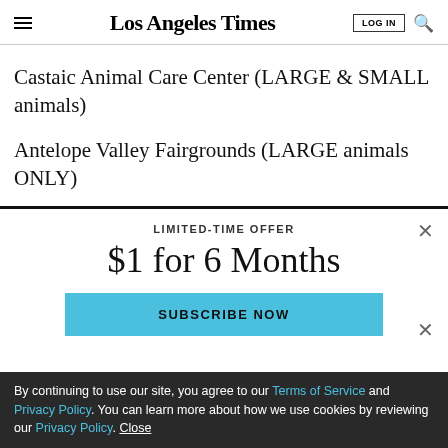Los Angeles Times
Castaic Animal Care Center (LARGE & SMALL animals)
Antelope Valley Fairgrounds (LARGE animals ONLY)
LIMITED-TIME OFFER
$1 for 6 Months
SUBSCRIBE NOW
By continuing to use our site, you agree to our Terms of Service and Privacy Policy. You can learn more about how we use cookies by reviewing our Privacy Policy. Close